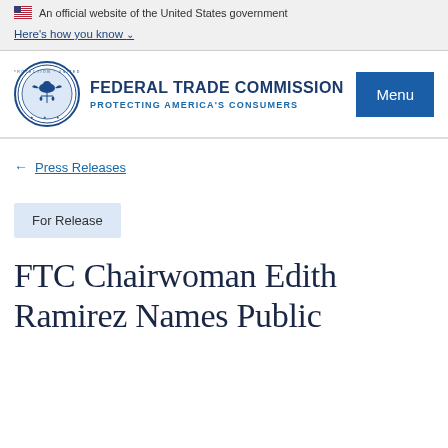An official website of the United States government
Here's how you know
[Figure (logo): Federal Trade Commission seal and wordmark with text FEDERAL TRADE COMMISSION and PROTECTING AMERICA'S CONSUMERS]
Menu
← Press Releases
For Release
FTC Chairwoman Edith Ramirez Names Public